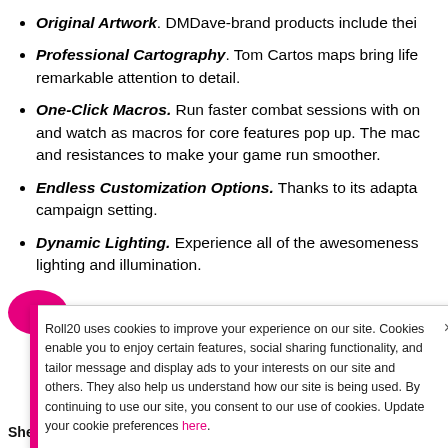Original Artwork. DMDave-brand products include thei
Professional Cartography. Tom Cartos maps bring life remarkable attention to detail.
One-Click Macros. Run faster combat sessions with on and watch as macros for core features pop up. The mac and resistances to make your game run smoother.
Endless Customization Options. Thanks to its adapta campaign setting.
Dynamic Lighting. Experience all of the awesomeness lighting and illumination.
Roll20 uses cookies to improve your experience on our site. Cookies enable you to enjoy certain features, social sharing functionality, and tailor message and display ads to your interests on our site and others. They also help us understand how our site is being used. By continuing to use our site, you consent to our use of cookies. Update your cookie preferences here.
Sheet: D&D 5e by Roll20